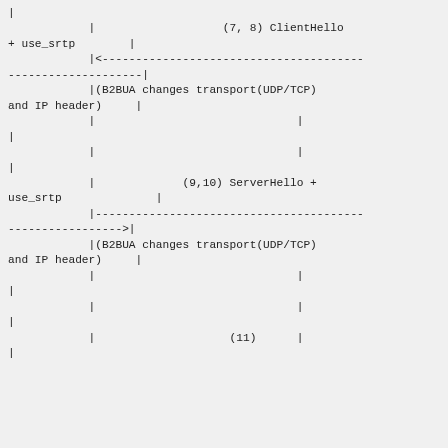[Figure (flowchart): Sequence diagram fragment showing DTLS handshake messages (7,8) ClientHello + use_srtp and (9,10) ServerHello + use_srtp passing through a B2BUA that changes transport (UDP/TCP) and IP header, with arrows and dashed lines indicating message flow direction.]